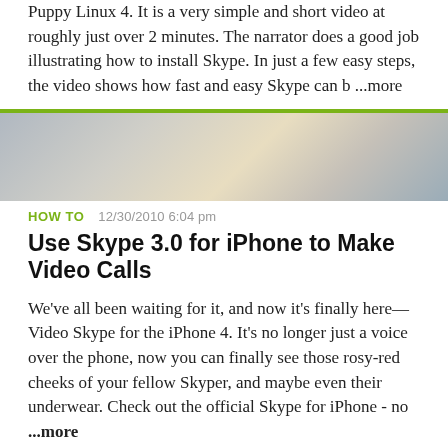Puppy Linux 4. It is a very simple and short video at roughly just over 2 minutes. The narrator does a good job illustrating how to install Skype. In just a few easy steps, the video shows how fast and easy Skype can b ...more
[Figure (photo): Blurred thumbnail image for article about Skype 3.0 for iPhone]
HOW TO   12/30/2010 6:04 pm
Use Skype 3.0 for iPhone to Make Video Calls
We've all been waiting for it, and now it's finally here—Video Skype for the iPhone 4. It's no longer just a voice over the phone, now you can finally see those rosy-red cheeks of your fellow Skyper, and maybe even their underwear. Check out the official Skype for iPhone - no ...more
[Figure (photo): NFL Shop advertisement with red jersey image, free shipping on orders over $25, www.nflshop.com, Shop Now button]